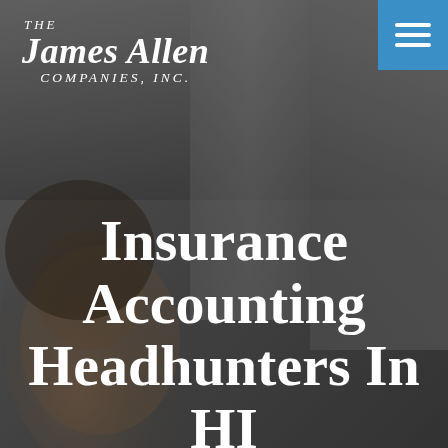[Figure (photo): Dark background photo of a smiling woman with natural hair, overlaid with semi-transparent dark tint. Office setting with blurred background elements.]
THE James Allen COMPANIES, INC.
Insurance Accounting Headhunters In HI